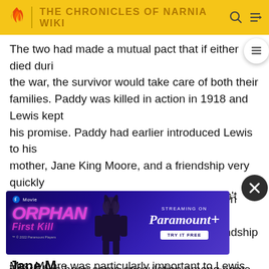THE CHRONICLES OF NARNIA WIKI
The two had made a mutual pact that if either died during the war, the survivor would take care of both their families. Paddy was killed in action in 1918 and Lewis kept his promise. Paddy had earlier introduced Lewis to his mother, Jane King Moore, and a friendship very quickly sprang up between Lewis, who was eighteen when they met, and Jane, who was forty-five. The friendship with Mrs. Moore was particularly important to Lewis while he was recovering from his wounds in hospital and his father refused to visit him. His father probably didn't visit him because
[Figure (screenshot): Advertisement banner for Orphan: First Kill streaming on Paramount+]
Jane M
There has been some speculation among some Lewis